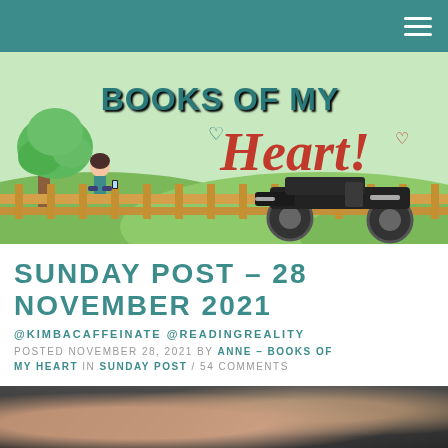Navigation bar with hamburger menu icon
[Figure (illustration): Books of My Heart blog banner illustration showing a cartoon girl sitting under a green tree with a fence, a motorcycle, and the text 'BOOKS OF MY HEART' in teal and red lettering on a countryside background]
SUNDAY POST – 28 NOVEMBER 2021
@KIMBACAFFEINATE @READINGREALITY
POSTED NOVEMBER 28, 2021 BY ANNE - BOOKS OF MY HEART IN SUNDAY POST / 54 COMMENTS
[Figure (photo): Partial photo at bottom of page, blurred, appears to show dark/muted tones with pinkish elements, possibly a cat or book scene]